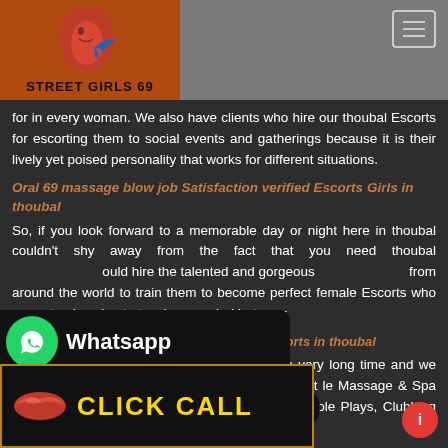[Figure (logo): Street Girls 69 logo with flame and bird icon on orange-brown background]
for in every woman. We also have clients who hire our thoubal Escorts for escorting them to social events and gatherings because it is their lively yet poised personality that works for different situations.
Oral 69 massage blow job Satisfaction verified Escorts Girls in thoubal
So, if you look forward to a memorable day or night here in thoubal couldn't shy away from the fact that you need thoubal ould hire the talented and gorgeous from around the world to train them to become perfect female Escorts who are not only going to touch your mind but your
[Figure (infographic): WhatsApp overlay button with green circle icon and 'Whatsapp' text on black background]
+91 7041729331
Latest Busty call Girls offer lowest prize Escorts in thoubal
g this for a very long time and we men of all varieties with different le Massage & Spa services, x Services, Blow job Services, Erotic Role Plays, Clubbing services
[Figure (infographic): CLICK CALL button with lips icon on black background with gold border]